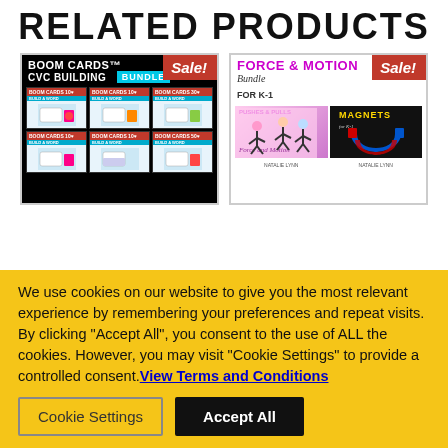RELATED PRODUCTS
[Figure (screenshot): Boom Cards CVC Building Bundle product thumbnail with Sale badge]
[Figure (screenshot): Force & Motion Bundle for K-1 product thumbnail with Sale badge]
We use cookies on our website to give you the most relevant experience by remembering your preferences and repeat visits. By clicking “Accept All”, you consent to the use of ALL the cookies. However, you may visit “Cookie Settings” to provide a controlled consent. View Terms and Conditions
Cookie Settings
Accept All